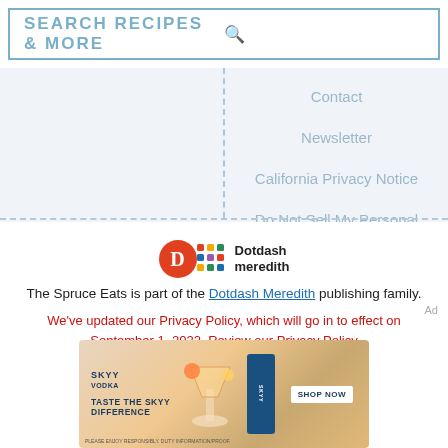SEARCH RECIPES & MORE
Contact
Newsletter
California Privacy Notice
Do Not Sell My Personal Information
[Figure (logo): Dotdash Meredith logo with red D circle and colorful grid icon]
The Spruce Eats is part of the Dotdash Meredith publishing family.
We've updated our Privacy Policy, which will go in to effect on September 1, 2022. Review our Privacy Policy
[Figure (photo): SKYY Vodka advertisement: Taste The SKYY Difference, with bottle and citrus garnish, Shop Now button]